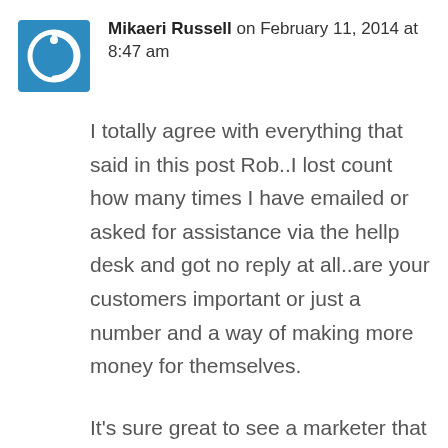Mikaeri Russell on February 11, 2014 at 8:47 am
I totally agree with everything that said in this post Rob..I lost count how many times I have emailed or asked for assistance via the hellp desk and got no reply at all..are your customers important or just a number and a way of making more money for themselves.
It's sure great to see a marketer that truly looks after their customers/subscribers, having